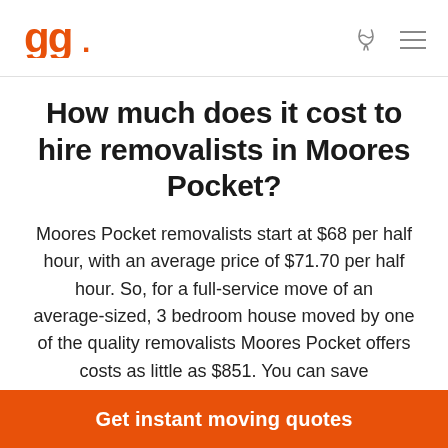How much does it cost to hire removalists in Moores Pocket?
Moores Pocket removalists start at $68 per half hour, with an average price of $71.70 per half hour. So, for a full-service move of an average-sized, 3 bedroom house moved by one of the quality removalists Moores Pocket offers costs as little as $851. You can save
Get instant moving quotes